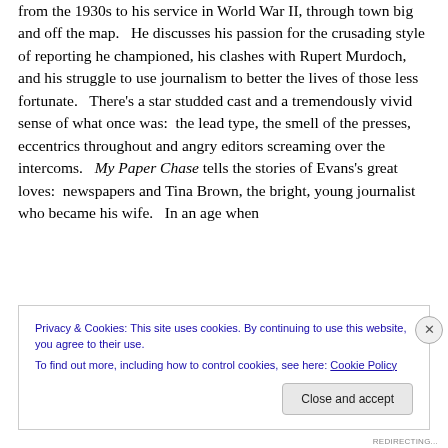from the 1930s to his service in World War II, through town big and off the map.   He discusses his passion for the crusading style of reporting he championed, his clashes with Rupert Murdoch, and his struggle to use journalism to better the lives of those less fortunate.   There’s a star studded cast and a tremendously vivid sense of what once was:  the lead type, the smell of the presses, eccentrics throughout and angry editors screaming over the intercoms.   My Paper Chase tells the stories of Evans’s great loves:  newspapers and Tina Brown, the bright, young journalist who became his wife.   In an age when
Privacy & Cookies: This site uses cookies. By continuing to use this website, you agree to their use.
To find out more, including how to control cookies, see here: Cookie Policy
REDIRECTING...